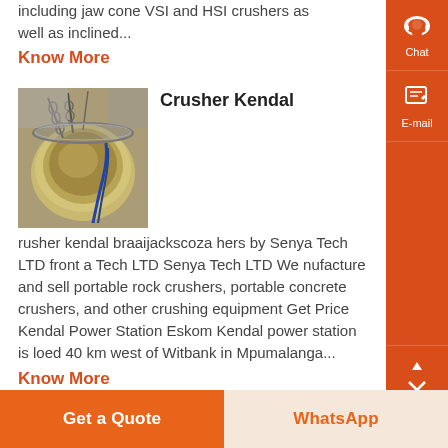including jaw cone VSI and HSI crushers as well as inclined...
Know More
[Figure (photo): Photo of industrial equipment - circular tank or bowl with chains and pipes]
Crusher Kendal
crusher kendal braaijackscoza hers by Senya Tech LTD front a Tech LTD Senya Tech LTD We nufacture and sell portable rock crushers, portable concrete crushers, and other crushing equipment Get Price Kendal Power Station Eskom Kendal power station is loed 40 km west of Witbank in Mpumalanga...
Know More
Get a Quote
WhatsApp